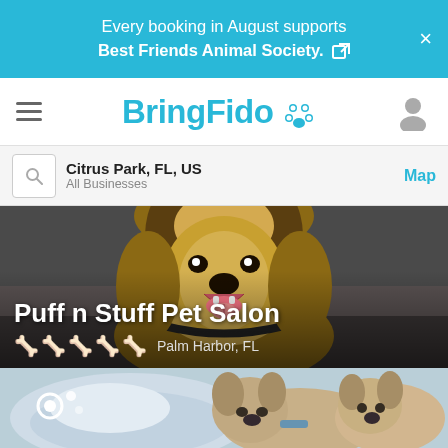Every booking in August supports Best Friends Animal Society.
BringFido
Citrus Park, FL, US
All Businesses
Map
[Figure (photo): Close-up photo of a Yorkshire Terrier dog with mouth open, on a grooming table]
Puff n Stuff Pet Salon
Palm Harbor, FL
[Figure (photo): Photo of two small dogs resting on a cushioned pet bed, one appears to be a French Bulldog; a loading spinner icon is overlaid in the bottom-left corner]